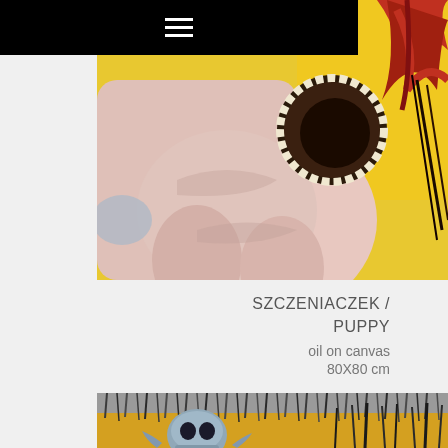≡
[Figure (photo): Close-up oil painting of a puppy or dog figure, showing pinkish-white body with dark circular mouth/teeth area, yellow background with red and black abstract elements]
SZCZENIACZEK / PUPPY
oil on canvas
80X80 cm
[Figure (photo): Oil painting showing a blue skull figure at bottom with dark fur-like texture at top, yellow background with dripping black elements]